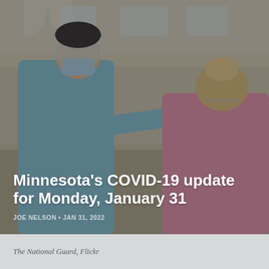[Figure (photo): A healthcare worker in a blue gown, face shield, and mask (left) administers a nasal swab COVID test to a patient in a pink jacket and mask (right), inside a large gym or community center.]
Minnesota's COVID-19 update for Monday, January 31
JOE NELSON • JAN 31, 2022
The National Guard, Flickr